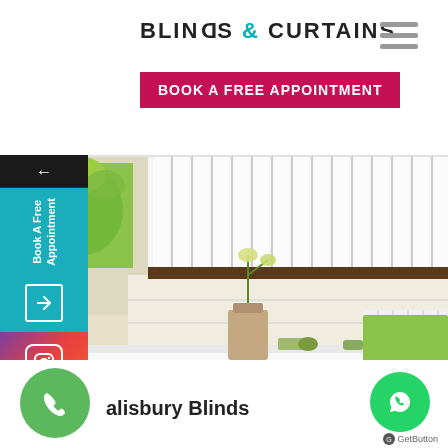BLINDS & CURTAINS
BOOK A FREE APPOINTMENT
[Figure (screenshot): Website screenshot showing a bathroom with white vertical blinds on a window, a green orchid plant, bathtub, and green towel on radiator. Left side panel shows navigation options including 'Book A Free Appointment' and Instagram icon. Bottom shows a phone call button, 'Salisbury Blinds' text, WhatsApp button, and GetButton branding.]